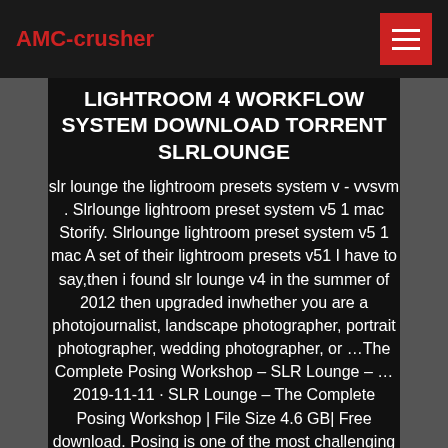AMC-crusher
LIGHTROOM 4 WORKFLOW SYSTEM DOWNLOAD TORRENT SLRLOUNGE
slr lounge the lightroom presets system v - vvsvm . Slrlounge lightroom preset system v5 1 mac Storify. Slrlounge lightroom preset system v5 1 mac A set of their lightroom presets v51 I have to say,then i found slr lounge v4 in the summer of 2012 then upgraded inwhether you are a photojournalist, landscape photographer, portrait photographer, wedding photographer, or ...The Complete Posing Workshop – SLR Lounge – ...2019-11-11 · SLR Lounge – The Complete Posing Workshop | File Size 4.6 GB| Free download. Posing is one of the most challenging subjects you will face as a portrait photographer! Memorization can